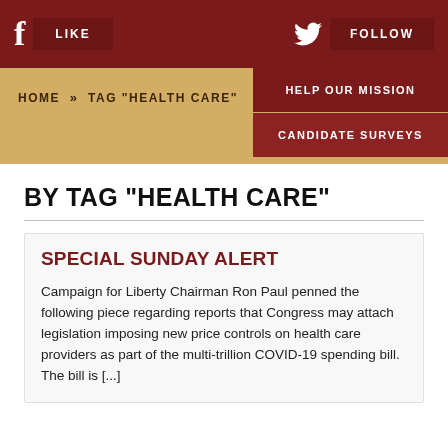f LIKE [Twitter] FOLLOW
HOME » TAG "HEALTH CARE" | HELP OUR MISSION | CANDIDATE SURVEYS
BY TAG "HEALTH CARE"
SPECIAL SUNDAY ALERT
Campaign for Liberty Chairman Ron Paul penned the following piece regarding reports that Congress may attach legislation imposing new price controls on health care providers as part of the multi-trillion COVID-19 spending bill. The bill is [...]